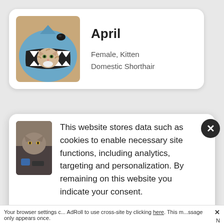[Figure (photo): Kitten sitting inside a blue shark-shaped cat bed/costume, looking out from the mouth opening]
April
Female, Kitten
Domestic Shorthair
[Figure (photo): Partial photo of a cat, partially obscured by cookie consent overlay]
This website stores data such as cookies to enable necessary site functions, including analytics, targeting and personalization. By remaining on this website you indicate your consent.
Cookie Policy
Your browser settings c... AdRoll to use cross-site by clicking here. This m...ssage only appears once.